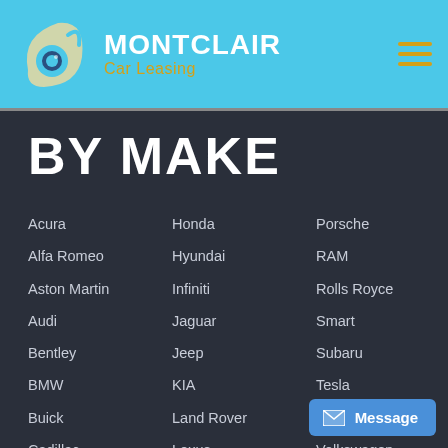[Figure (logo): Montclair Car Leasing logo with chameleon/leaf icon on blue header background]
BY MAKE
Acura
Honda
Porsche
Alfa Romeo
Hyundai
RAM
Aston Martin
Infiniti
Rolls Royce
Audi
Jaguar
Smart
Bentley
Jeep
Subaru
BMW
KIA
Tesla
Buick
Land Rover
Toyota
Cadillac
Lexus
Volkswagen
Chevrolet
Lincoln
Volvo
Chrysler
Maserati